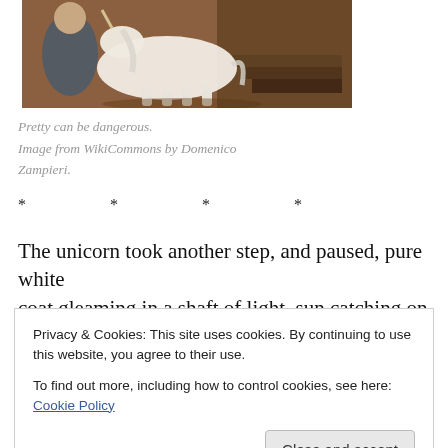[Figure (illustration): A painting fragment showing a white unicorn with a figure in blue robes, Renaissance style painting by Domenico Zampieri, warm brown tones with stone architecture in background]
Pretty can be dangerous.
Image from WikiCommons by Domenico Zampieri.
* * * *
The unicorn took another step, and paused, pure white coat gleaming in a shaft of light, sun catching on its gold
Privacy & Cookies: This site uses cookies. By continuing to use this website, you agree to their use.
To find out more, including how to control cookies, see here: Cookie Policy
[Close and accept]